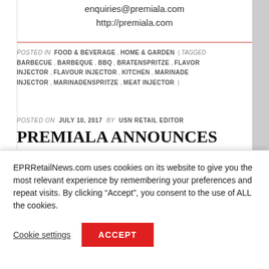enquiries@premiala.com
http://premiala.com
POSTED IN FOOD & BEVERAGE , HOME & GARDEN | TAGGED BARBECUE , BARBEQUE , BBQ , BRATENSPRITZE , FLAVOR INJECTOR , FLAVOUR INJECTOR , KITCHEN , MARINADE INJECTOR , MARINADENSPRITZE , MEAT INJECTOR |
POSTED ON JULY 10, 2017 BY USN RETAIL EDITOR
PREMIALA ANNOUNCES RESTOCKING OF ITS MEAT
EPRRetailNews.com uses cookies on its website to give you the most relevant experience by remembering your preferences and repeat visits. By clicking “Accept”, you consent to the use of ALL the cookies.
Cookie settings
ACCEPT